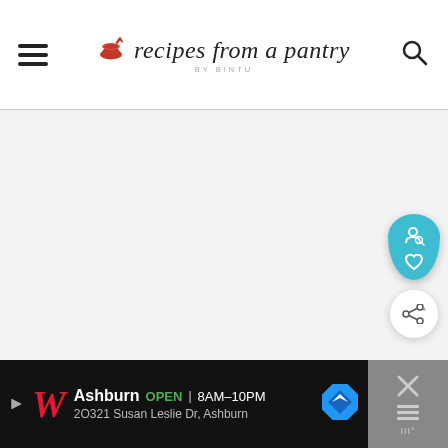recipes from a pantry BY BINTU
[Figure (screenshot): Main content area of website, light gray background, empty/loading state]
[Figure (infographic): Floating teal teardrop-shaped button with search and heart icons, and a white circular share button]
[Figure (infographic): Walgreens advertisement bar: Ashburn OPEN 8AM-10PM, 2O321 Susan Leslie Dr, Ashburn. Right side has close X button with menu icon.]